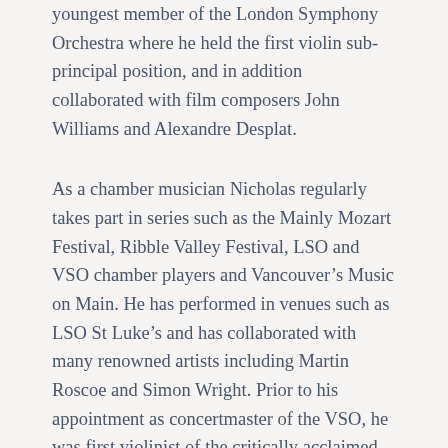youngest member of the London Symphony Orchestra where he held the first violin sub-principal position, and in addition collaborated with film composers John Williams and Alexandre Desplat.
As a chamber musician Nicholas regularly takes part in series such as the Mainly Mozart Festival, Ribble Valley Festival, LSO and VSO chamber players and Vancouver's Music on Main. He has performed in venues such as LSO St Luke's and has collaborated with many renowned artists including Martin Roscoe and Simon Wright. Prior to his appointment as concertmaster of the VSO, he was first violinist of the critically acclaimed Vancouver based Koerner Quartet.